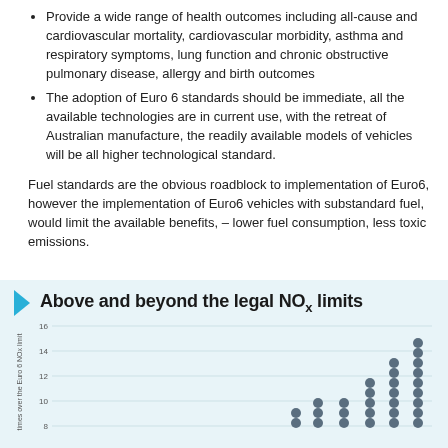Provide a wide range of health outcomes including all-cause and cardiovascular mortality, cardiovascular morbidity, asthma and respiratory symptoms, lung function and chronic obstructive pulmonary disease, allergy and birth outcomes
The adoption of Euro 6 standards should be immediate, all the available technologies are in current use, with the retreat of Australian manufacture, the readily available models of vehicles will be all higher technological standard.
Fuel standards are the obvious roadblock to implementation of Euro6, however the implementation of Euro6 vehicles with substandard fuel, would limit the available benefits, – lower fuel consumption, less toxic emissions.
[Figure (continuous-plot): A dot/scatter plot chart titled 'Above and beyond the legal NOx limits' showing stacked dot columns rising from left to right, with y-axis labeled 'times over the Euro 6 NOx limit' ranging from approximately 8 to 16. The columns at the right side reach heights of 14 and above.]